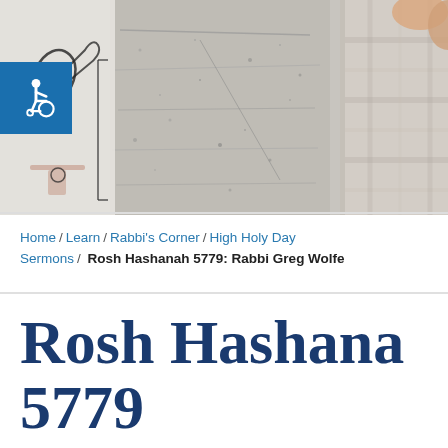[Figure (photo): Hero image showing a stone or concrete wall texture with a person in a plaid shirt on the right side, and an illustration of a hand/arm with a wheelchair accessibility symbol badge on the left side.]
Home / Learn / Rabbi's Corner / High Holy Day Sermons / Rosh Hashanah 5779: Rabbi Greg Wolfe
Rosh Hashana 5779